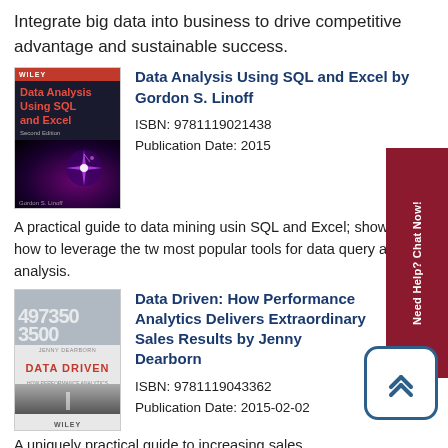Integrate big data into business to drive competitive advantage and sustainable success.
[Figure (photo): Book cover: Data Analysis Using SQL and Excel, Second Edition by Gordon S. Linoff, Wiley publisher, dark background with purple galaxy image]
Data Analysis Using SQL and Excel by Gordon S. Linoff
ISBN: 9781119021438
Publication Date: 2015
A practical guide to data mining using SQL and Excel; shows you how to leverage the two most popular tools for data query and analysis.
[Figure (photo): Book cover: Data Driven: How Performance Analytics Delivers Extraordinary Sales Results by Jenny Dearborn, Wiley publisher, showing a road perspective and numerical data background]
Data Driven: How Performance Analytics Delivers Extraordinary Sales Results by Jenny Dearborn
ISBN: 9781119043362
Publication Date: 2015-02-02
A uniquely practical guide to increasing sales